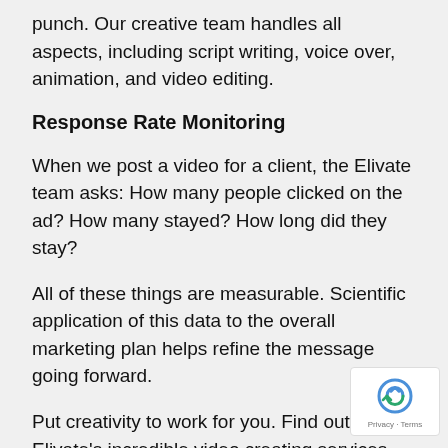punch. Our creative team handles all aspects, including script writing, voice over, animation, and video editing.
Response Rate Monitoring
When we post a video for a client, the Elivate team asks: How many people clicked on the ad? How many stayed? How long did they stay?
All of these things are measurable. Scientific application of this data to the overall marketing plan helps refine the message going forward.
Put creativity to work for you. Find out about Elivate's incredible video creating services.
To learn more about video response rate monitoring, talk to the Elivate team about the